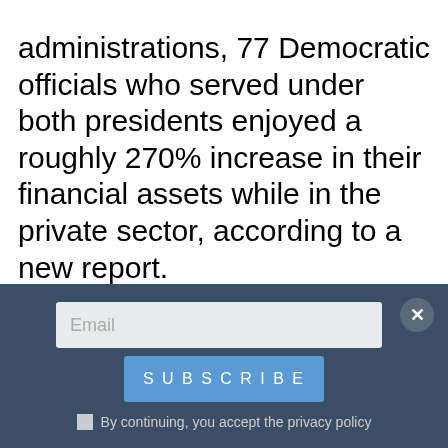administrations, 77 Democratic officials who served under both presidents enjoyed a roughly 270% increase in their financial assets while in the private sector, according to a new report.
There are 151 officials who served under Barack Obama and received jobs in the Biden administration, according to a Tuesday report by Columbia University's Brown Institute for Media Innovation, MuckRock and Forbes, which compiled
[Figure (other): Email subscription overlay with dark blue background, email input field, Subscribe button, close button (X), and privacy policy checkbox]